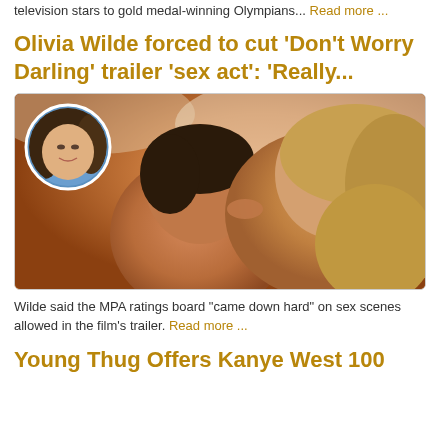television stars to gold medal-winning Olympians... Read more ...
Olivia Wilde forced to cut ‘Don't Worry Darling’ trailer ‘sex act’: ‘Really...
[Figure (photo): A movie scene photo showing two people lying close together in warm amber lighting, with a circular inset headshot of a woman (Olivia Wilde) in the upper left corner.]
Wilde said the MPA ratings board "came down hard" on sex scenes allowed in the film's trailer. Read more ...
Young Thug Offers Kanye West 100